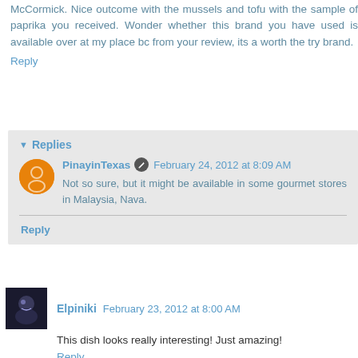McCormick. Nice outcome with the mussels and tofu with the sample of paprika you received. Wonder whether this brand you have used is available over at my place bc from your review, its a worth the try brand.
Reply
Replies
PinayinTexas  February 24, 2012 at 8:09 AM
Not so sure, but it might be available in some gourmet stores in Malaysia, Nava.
Reply
Elpiniki  February 23, 2012 at 8:00 AM
This dish looks really interesting! Just amazing!
Reply